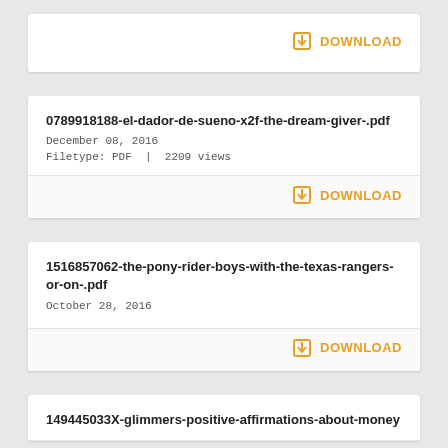DOWNLOAD (top card, download only visible)
0789918188-el-dador-de-sueno-x2f-the-dream-giver-.pdf
December 08, 2016
Filetype: PDF | 2209 views
DOWNLOAD
1516857062-the-pony-rider-boys-with-the-texas-rangers-or-on-.pdf
October 28, 2016
DOWNLOAD
149445033X-glimmers-positive-affirmations-about-money (partial)